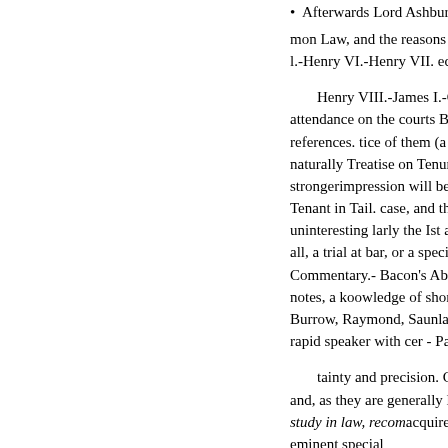• Afterwards Lord Ashburton,
mon Law, and the reasons and ex l.-Henry VI.-Henry VII. ed.
Henry VIII.-James I.-Charles I attendance on the courts Blacksto references. tice of them (a circum naturally Treatise on Tenures. ac strongerimpression will be made Tenant in Tail. case, and the plea uninteresting larly the Ist and Ild all, a trial at bar, or a special argu Commentary.- Bacon's AbridgeA notes, a koowledge of short. ty.- Burrow, Raymond, Saunlabours, rapid speaker with cer - Paley's M
tainty and precision. Common and, as they are generally lettered study in law, recomacquire some eminent special
Drummond, 1774. pleader pre which are strongly to second, and Tully's who have not possessed t